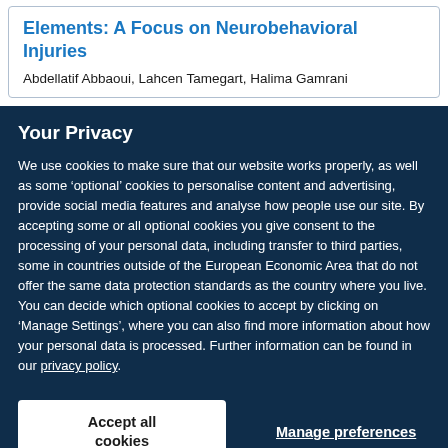Elements: A Focus on Neurobehavioral Injuries
Abdellatif Abbaoui, Lahcen Tamegart, Halima Gamrani
Your Privacy
We use cookies to make sure that our website works properly, as well as some ‘optional’ cookies to personalise content and advertising, provide social media features and analyse how people use our site. By accepting some or all optional cookies you give consent to the processing of your personal data, including transfer to third parties, some in countries outside of the European Economic Area that do not offer the same data protection standards as the country where you live. You can decide which optional cookies to accept by clicking on ‘Manage Settings’, where you can also find more information about how your personal data is processed. Further information can be found in our privacy policy.
Accept all cookies
Manage preferences